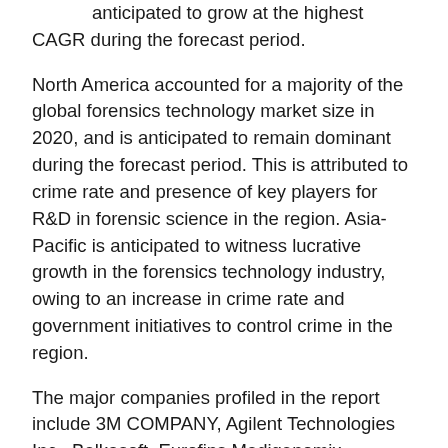anticipated to grow at the highest CAGR during the forecast period.
North America accounted for a majority of the global forensics technology market size in 2020, and is anticipated to remain dominant during the forecast period. This is attributed to crime rate and presence of key players for R&D in forensic science in the region. Asia-Pacific is anticipated to witness lucrative growth in the forensics technology industry, owing to an increase in crime rate and government initiatives to control crime in the region.
The major companies profiled in the report include 3M COMPANY, Agilent Technologies Inc., Belkasoft, Eurofins Medigenomix  Forensik GmbH (Forensic